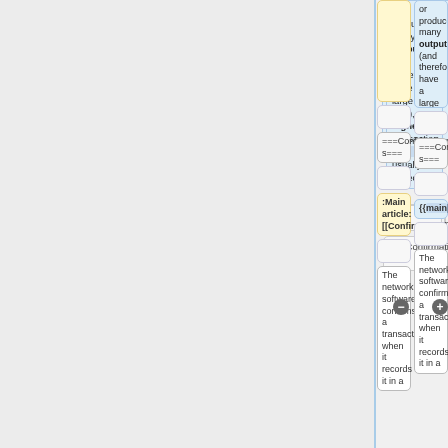or produce many outputs (and therefore have a large data size), higher transaction fees are usually expected.
===Confirmations===
===Confirmations===
:Main article: [[Confirmation]]
{{main|Confirmation}}
The network's software confirms a transaction when it records it in a
The network's software confirms a transaction when it records it in a